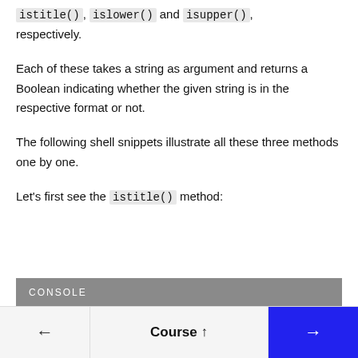istitle(), islower() and isupper(), respectively.
Each of these takes a string as argument and returns a Boolean indicating whether the given string is in the respective format or not.
The following shell snippets illustrate all these three methods one by one.
Let's first see the istitle() method:
CONSOLE
← Course ↑ →